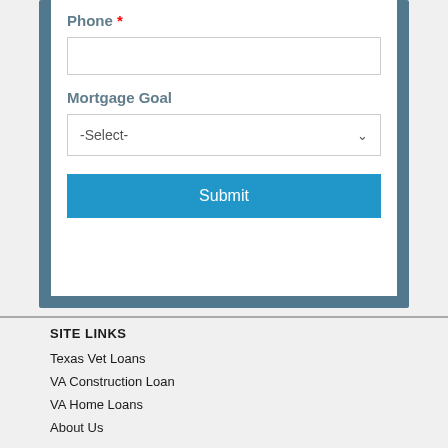Phone *
Mortgage Goal
-Select-
Submit
SITE LINKS
Texas Vet Loans
VA Construction Loan
VA Home Loans
About Us